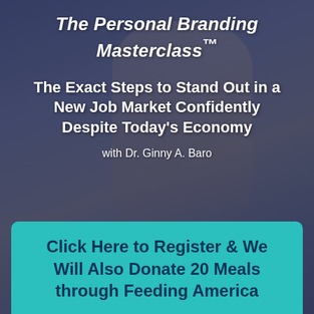The Personal Branding Masterclass™
The Exact Steps to Stand Out in a New Job Market Confidently Despite Today's Economy
with Dr. Ginny A. Baro
[Figure (photo): Background photo of a woman with blonde hair speaking or presenting, with a dark blue-purple overlay tint across the entire image]
Click Here to Register & We Will Also Donate 20 Meals through Feeding America